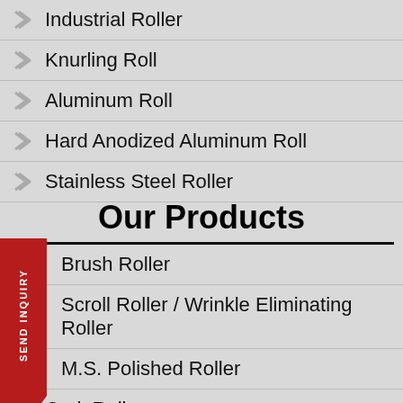Industrial Roller
Knurling Roll
Aluminum Roll
Hard Anodized Aluminum Roll
Stainless Steel Roller
Our Products
Brush Roller
Scroll Roller / Wrinkle Eliminating Roller
M.S. Polished Roller
Cork Roller
Teflon Coated Roller
Groove Roll